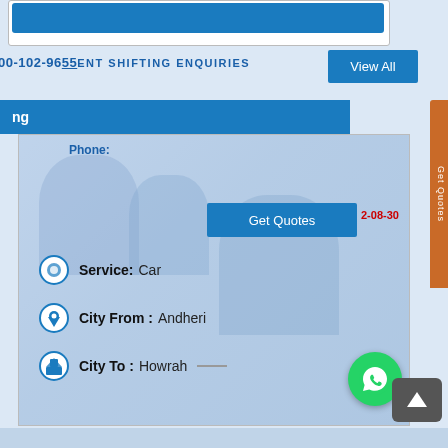[Figure (screenshot): Website screenshot showing a car/household shifting enquiry portal with phone number 00-102-9655, heading 'ENT SHIFTING ENQUIRIES', a 'View All' button, a blue section bar, and a card showing Service: Car, City From: Andheri, City To: Howrah with Get Quotes button and date 2-08-30. WhatsApp icon and scroll-to-top button visible.]
00-102-9655ENT SHIFTING ENQUIRIES
View All
ng
Phone:
Get Quotes
2-08-30
Service: Car
City From : Andheri
City To : Howrah
Get Quotes